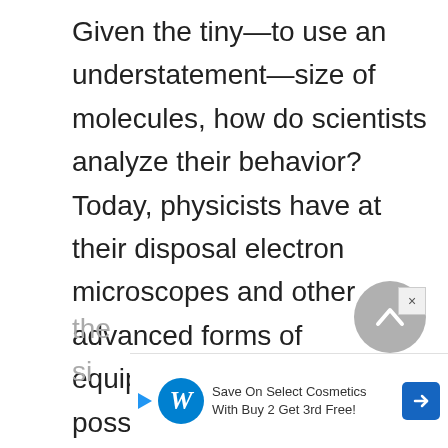Given the tiny—to use an understatement—size of molecules, how do scientists analyze their behavior? Today, physicists have at their disposal electron microscopes and other advanced forms of equipment that make it possible to observe activity at the atomic and molecular levels. The technology that makes this possible is beyond the scope of the present discussion. On the... si...